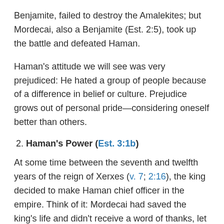Benjamite, failed to destroy the Amalekites; but Mordecai, also a Benjamite (Est. 2:5), took up the battle and defeated Haman.
Haman's attitude we will see was very prejudiced: He hated a group of people because of a difference in belief or culture. Prejudice grows out of personal pride—considering oneself better than others.
2. Haman's Power (Est. 3:1b)
At some time between the seventh and twelfth years of the reign of Xerxes (v. 7; 2:16), the king decided to make Haman chief officer in the empire. Think of it: Mordecai had saved the king's life and didn't receive a word of thanks, let alone a reward; but wicked Haman did nothing and was promoted! There are many seeming injustices in